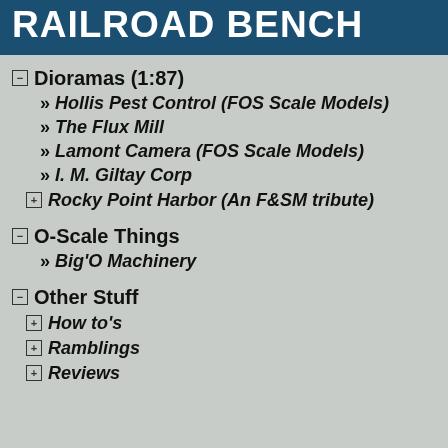RAILROAD BENCH
Dioramas (1:87)
» Hollis Pest Control (FOS Scale Models)
» The Flux Mill
» Lamont Camera (FOS Scale Models)
» I. M. Giltay Corp
⊞ Rocky Point Harbor (An F&SM tribute)
O-Scale Things
» Big'O Machinery
Other Stuff
⊞ How to's
⊞ Ramblings
⊞ Reviews